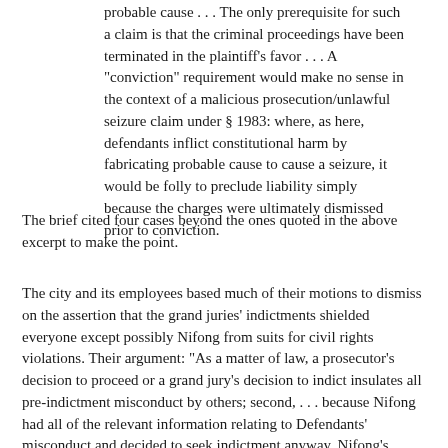probable cause . . . The only prerequisite for such a claim is that the criminal proceedings have been terminated in the plaintiff’s favor . . . A “conviction” requirement would make no sense in the context of a malicious prosecution/unlawful seizure claim under § 1983: where, as here, defendants inflict constitutional harm by fabricating probable cause to cause a seizure, it would be folly to preclude liability simply because the charges were ultimately dismissed prior to conviction.
The brief cited four cases beyond the ones quoted in the above excerpt to make the point.
The city and its employees based much of their motions to dismiss on the assertion that the grand juries’ indictments shielded everyone except possibly Nifong from suits for civil rights violations. Their argument: “As a matter of law, a prosecutor’s decision to proceed or a grand jury's decision to indict insulates all pre-indictment misconduct by others; second, . . . because Nifong had all of the relevant information relating to Defendants’ misconduct and decided to seek indictment anyway, Nifong’s decision was an